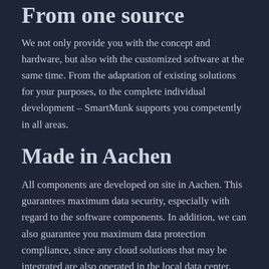From one source
We not only provide you with the concept and hardware, but also with the customized software at the same time. From the adaptation of existing solutions for your purposes, to the complete individual development – SmartMunk supports you competently in all areas.
Made in Aachen
All components are developed on site in Aachen. This guarantees maximum data security, especially with regard to the software components. In addition, we can also guarantee you maximum data protection compliance, since any cloud solutions that may be integrated are also operated in the local data center.
Interactive hardware at the heart of surveys and survey projects
REVRT has already been used many times in survey and